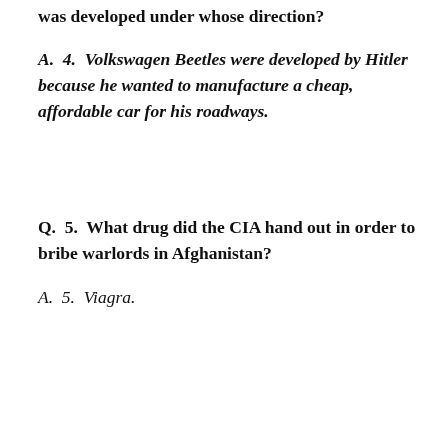was developed under whose direction?
A.  4.  Volkswagen Beetles were developed by Hitler because he wanted to manufacture a cheap, affordable car for his roadways.
Q.  5.  What drug did the CIA hand out in order to bribe warlords in Afghanistan?
A.  5.  Viagra.